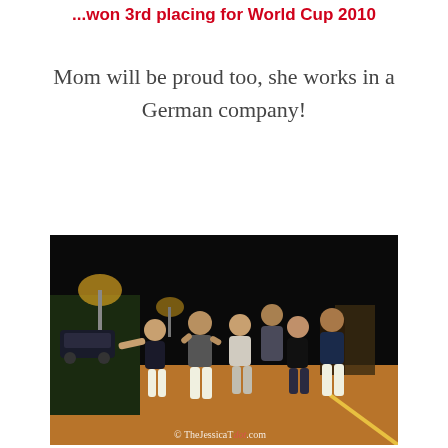...won 3rd placing for World Cup 2010
Mom will be proud too, she works in a German company!
[Figure (photo): A group of young people posing on a street at night, some making gestures, with street lights and trees visible in the background. Photo watermark reads: © TheJessicaTdot.com]